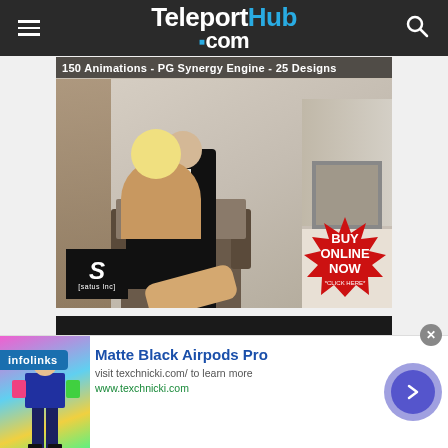TeleportHub.com
[Figure (photo): Advertisement for satus Inc showing two Second Life avatars (a woman in black dress and a man in suit) sitting on a chair. Text reads: 150 Animations - PG Synergy Engine - 25 Designs. Red starburst badge says BUY ONLINE NOW *CLICK HERE*. satus Inc logo in bottom left.]
[Figure (photo): Dark advertisement banner with large white bold text reading THIS SPACE IS]
infolinks
Matte Black Airpods Pro
visit texchnicki.com/ to learn more
www.texchnicki.com